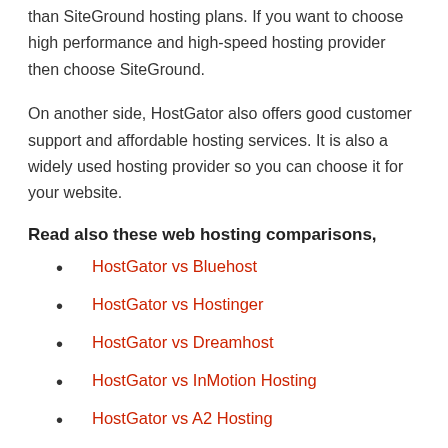than SiteGround hosting plans. If you want to choose high performance and high-speed hosting provider then choose SiteGround.
On another side, HostGator also offers good customer support and affordable hosting services. It is also a widely used hosting provider so you can choose it for your website.
Read also these web hosting comparisons,
HostGator vs Bluehost
HostGator vs Hostinger
HostGator vs Dreamhost
HostGator vs InMotion Hosting
HostGator vs A2 Hosting